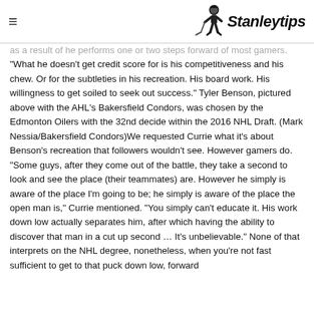≡  Stanleytips
as a result of he performs one or two steps forward of most gamers. "What he doesn't get credit score for is his competitiveness and his chew. Or for the subtleties in his recreation. His board work. His willingness to get soiled to seek out success." Tyler Benson, pictured above with the AHL's Bakersfield Condors, was chosen by the Edmonton Oilers with the 32nd decide within the 2016 NHL Draft. (Mark Nessia/Bakersfield Condors)We requested Currie what it's about Benson's recreation that followers wouldn't see. However gamers do. "Some guys, after they come out of the battle, they take a second to look and see the place (their teammates) are. However he simply is aware of the place I'm going to be; he simply is aware of the place the open man is," Currie mentioned. "You simply can't educate it. His work down low actually separates him, after which having the ability to discover that man in a cut up second … It's unbelievable." None of that interprets on the NHL degree, nonetheless, when you're not fast sufficient to get to that puck down low, forward